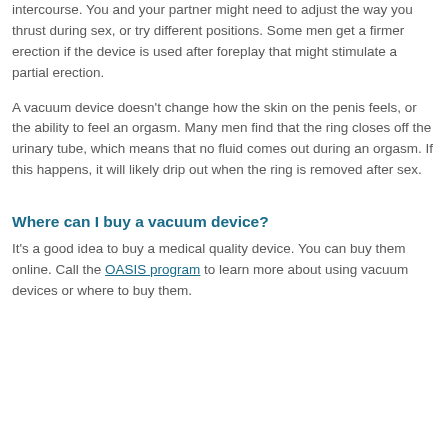side to side than normal. It may hang erect from the body instead of standing up erect. Sometimes this makes the penis slip out during intercourse. You and your partner might need to adjust the way you thrust during sex, or try different positions. Some men get a firmer erection if the device is used after foreplay that might stimulate a partial erection.
A vacuum device doesn't change how the skin on the penis feels, or the ability to feel an orgasm. Many men find that the ring closes off the urinary tube, which means that no fluid comes out during an orgasm. If this happens, it will likely drip out when the ring is removed after sex.
Where can I buy a vacuum device?
It's a good idea to buy a medical quality device. You can buy them online. Call the OASIS program to learn more about using vacuum devices or where to buy them.